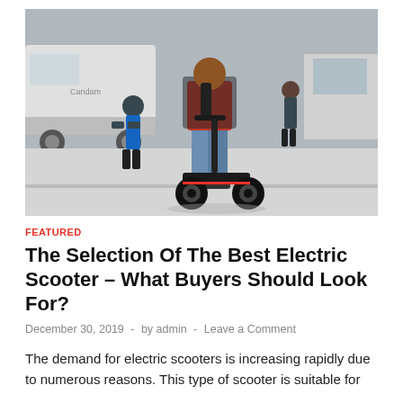[Figure (photo): Person riding a black electric scooter on a city street, with pedestrians and a white van visible in the background.]
FEATURED
The Selection Of The Best Electric Scooter – What Buyers Should Look For?
December 30, 2019  -  by admin  -  Leave a Comment
The demand for electric scooters is increasing rapidly due to numerous reasons. This type of scooter is suitable for